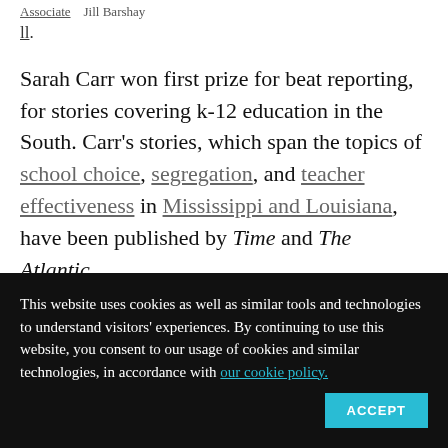Associate   Jill Barshay
11.
Sarah Carr won first prize for beat reporting, for stories covering k-12 education in the South. Carr's stories, which span the topics of school choice, segregation, and teacher effectiveness in Mississippi and Louisiana, have been published by Time and The Atlantic.
This website uses cookies as well as similar tools and technologies to understand visitors' experiences. By continuing to use this website, you consent to our usage of cookies and similar technologies, in accordance with our cookie policy.